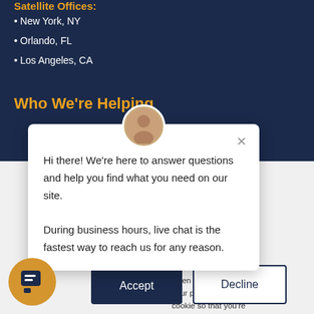Satellite Offices:
New York, NY
Orlando, FL
Los Angeles, CA
Who We're Helping
[Figure (screenshot): Live chat popup with avatar photo, close button, and greeting text: 'Hi there! We're here to answer questions and help you find what you need on our site. During business hours, live chat is the fastest way to reach us for any reason.']
your computer. ct information about e and allow us to rmation in order to wsing experience out our visitors both . To find out more our Privacy Policy.
when you visit our your preferences, cookie so that you're not asked to make this choice again.